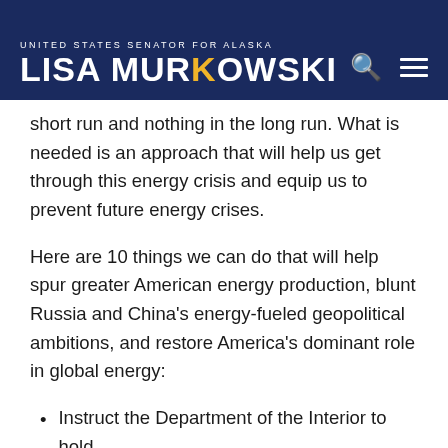UNITED STATES SENATOR FOR ALASKA — LISA MURKOWSKI
short run and nothing in the long run. What is needed is an approach that will help us get through this energy crisis and equip us to prevent future energy crises.
Here are 10 things we can do that will help spur greater American energy production, blunt Russia and China's energy-fueled geopolitical ambitions, and restore America's dominant role in global energy:
Instruct the Department of the Interior to hold